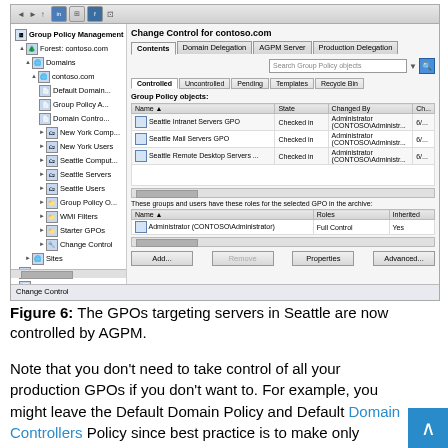[Figure (screenshot): A Windows AGPM (Advanced Group Policy Management) console screenshot showing the 'Change Control for contoso.com' window with a Group Policy Management tree on the left and controlled GPOs listed on the right, including Seattle Intranet Servers GPO, Seattle Mail Servers GPO, and Seattle Remote Desktop Servers, all Checked in by Administrator (CONTOSO\Administrator). Bottom panel shows Administrator with Full Control role. Buttons: Add, Remove, Properties, Advanced.]
Figure 6: The GPOs targeting servers in Seattle are now controlled by AGPM.
Note that you don't need to take control of all your production GPOs if you don't want to. For example, you might leave the Default Domain Policy and Default Domain Controllers Policy since best practice is to make only minimal changes to these GPOs (see here for details). You might also take control of your custom GPOs